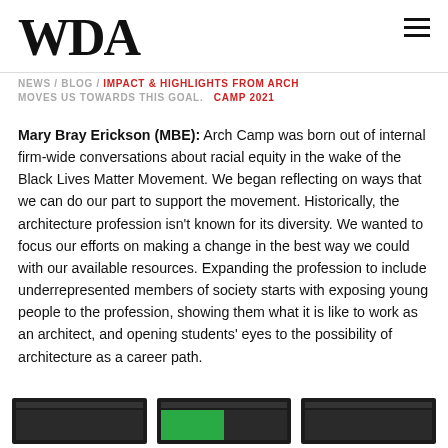WDA
NEWS / BLOG / IMPACT & HIGHLIGHTS FROM ARCH CAMP 2021
moves us towards this goal.
Mary Bray Erickson (MBE): Arch Camp was born out of internal firm-wide conversations about racial equity in the wake of the Black Lives Matter Movement. We began reflecting on ways that we can do our part to support the movement. Historically, the architecture profession isn't known for its diversity. We wanted to focus our efforts on making a change in the best way we could with our available resources. Expanding the profession to include underrepresented members of society starts with exposing young people to the profession, showing them what it is like to work as an architect, and opening students' eyes to the possibility of architecture as a career path.
[Figure (screenshot): Three small thumbnail screenshots at the bottom of the page]